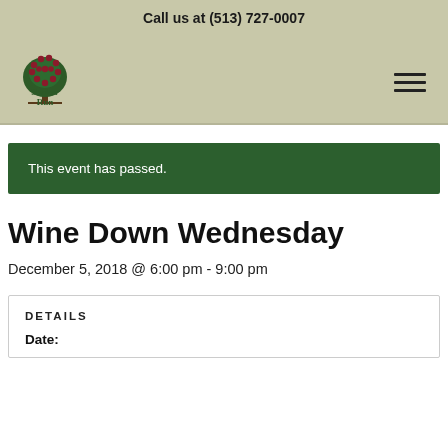Call us at (513) 727-0007
[Figure (logo): Shaker Run logo: a tree with red fruit above text reading 'Shaker Run']
This event has passed.
Wine Down Wednesday
December 5, 2018 @ 6:00 pm - 9:00 pm
DETAILS
Date: